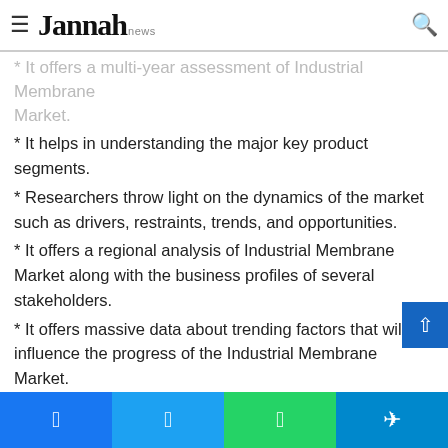Jannah news
* It offers a multi-year assessment of Industrial Membrane Market.
* It helps in understanding the major key product segments.
* Researchers throw light on the dynamics of the market such as drivers, restraints, trends, and opportunities.
* It offers a regional analysis of Industrial Membrane Market along with the business profiles of several stakeholders.
* It offers massive data about trending factors that will influence the progress of the Industrial Membrane Market.
Table of Content:
1 Scope of the Report
1.1 Market Introduction
1.2 Research Objectives